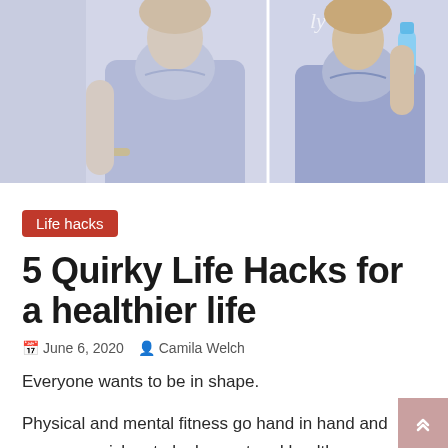[Figure (photo): Two women in light blue/lavender crop tops. Left image shows a woman from torso down with a gold bracelet. Right image shows a woman drinking from a water bottle.]
Life hacks
5 Quirky Life Hacks for a healthier life
June 6, 2020  Camila Welch
Everyone wants to be in shape.
Physical and mental fitness go hand in hand and everyone wishes to look smart and healthy.